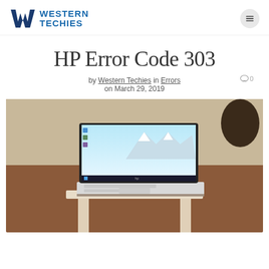WESTERN TECHIES
HP Error Code 303
by Western Techies in Errors on March 29, 2019
[Figure (photo): HP laptop open on a white stand/chair, showing Windows 10 desktop with a winter mountain scene wallpaper, photographed indoors on a brown wooden table.]